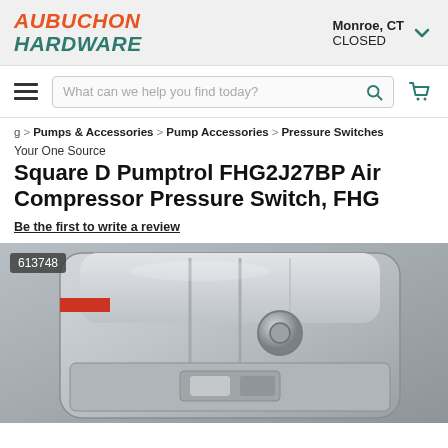AUBUCHON HARDWARE | Monroe, CT CLOSED
What can we help you find today?
g > Pumps & Accessories > Pump Accessories > Pressure Switches
Your One Source
Square D Pumptrol FHG2J27BP Air Compressor Pressure Switch, FHG
Be the first to write a review
[Figure (photo): Close-up photo of a Square D Pumptrol air compressor pressure switch, silver/grey metallic housing with ribbed surface and a central knob/button, SKU 613748 badge in top-left corner.]